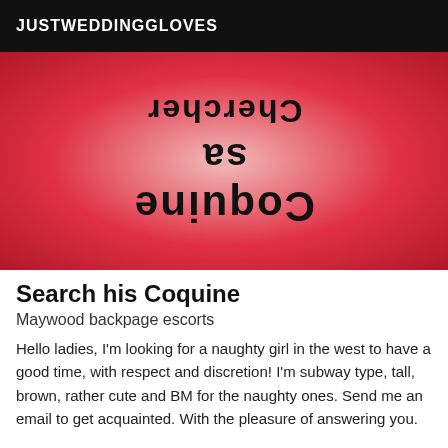JUSTWEDDINGGLOVES
[Figure (illustration): Red radial gradient background image with decoratively styled mirrored/flipped text reading 'Chercher sa Coquine' in large black decorative font, displayed upside down and mirrored.]
Search his Coquine
Maywood backpage escorts
Hello ladies, I'm looking for a naughty girl in the west to have a good time, with respect and discretion! I'm subway type, tall, brown, rather cute and BM for the naughty ones. Send me an email to get acquainted. With the pleasure of answering you.